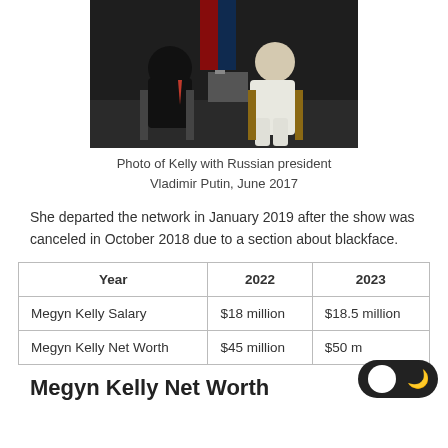[Figure (photo): Photo of Megyn Kelly sitting with Russian president Vladimir Putin, June 2017. Two people seated in chairs in a formal interview setting with flags in background.]
Photo of Kelly with Russian president Vladimir Putin, June 2017
She departed the network in January 2019 after the show was canceled in October 2018 due to a section about blackface.
| Year | 2022 | 2023 |
| --- | --- | --- |
| Megyn Kelly Salary | $18 million | $18.5 million |
| Megyn Kelly Net Worth | $45 million | $50 m... |
Megyn Kelly Net Worth